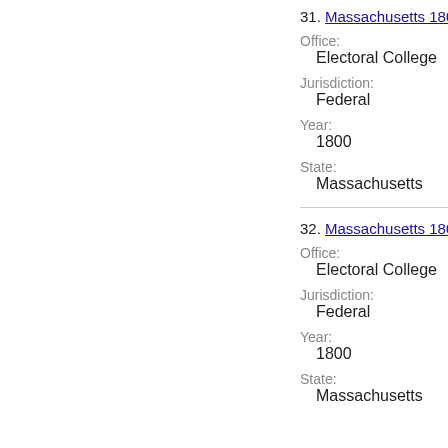31. Massachusetts 1800 Ele...
Office:
Electoral College
Jurisdiction:
Federal
Year:
1800
State:
Massachusetts
32. Massachusetts 1800 Ele...
Office:
Electoral College
Jurisdiction:
Federal
Year:
1800
State:
Massachusetts